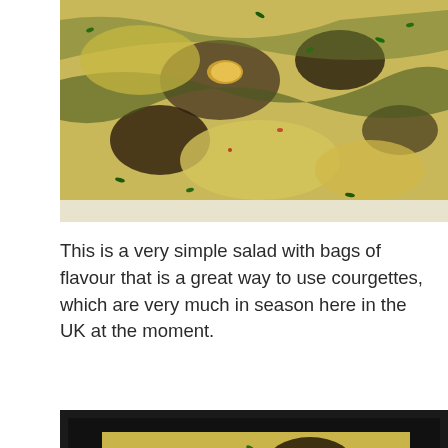[Figure (photo): Close-up photo of grilled courgette slices with herbs and spices on a white plate]
This is a very simple salad with bags of flavour that is a great way to use courgettes, which are very much in season here in the UK at the moment.
[Figure (photo): Photo of grilled courgette salad with herbs shown inside a dark-framed tablet or screen display]